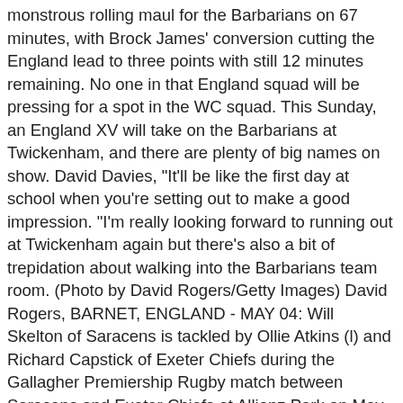monstrous rolling maul for the Barbarians on 67 minutes, with Brock James' conversion cutting the England lead to three points with still 12 minutes remaining. No one in that England squad will be pressing for a spot in the WC squad. This Sunday, an England XV will take on the Barbarians at Twickenham, and there are plenty of big names on show. David Davies, "It'll be like the first day at school when you're setting out to make a good impression. "I'm really looking forward to running out at Twickenham again but there's also a bit of trepidation about walking into the Barbarians team room. (Photo by David Rogers/Getty Images) David Rogers, BARNET, ENGLAND - MAY 04: Will Skelton of Saracens is tackled by Ollie Atkins (l) and Richard Capstick of Exeter Chiefs during the Gallagher Premiership Rugby match between Saracens and Exeter Chiefs at Allianz Park on May 4, 2019 in Barnet, United Kingdom. But in such a crucial game and not having played since Christmas he's got some other stuff to get his head around so we've decided he's just not quite ready.", Marler announced his retirement from international rugby last September, Mako Vunipola has been ruled out of the rest of the season with a torn hamstring. There is also